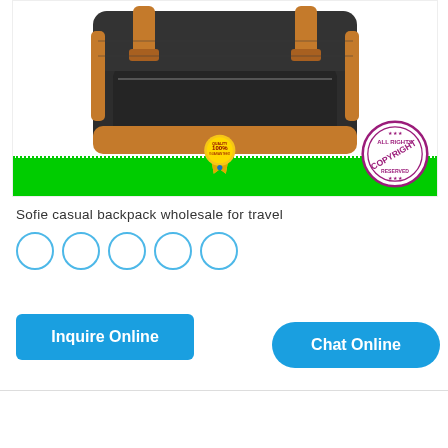[Figure (photo): Dark charcoal/black casual backpack with brown leather straps and trim, shown against white background with green bar at bottom. Contains a '100% Quality Guaranteed' gold medal badge and an 'All Rights Copyright Reserved' purple stamp overlay.]
Sofie casual backpack wholesale for travel
[Figure (other): Five empty circles in a row, likely color swatch selectors with blue outline borders]
Inquire Online
Chat Online